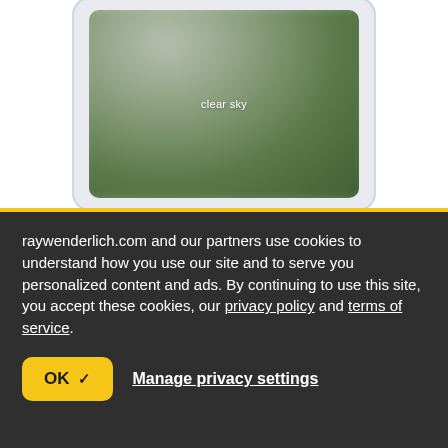[Figure (screenshot): A blurred nature/sky image displayed inside a phone frame with the label 'clear sky' overlaid in the center]
raywenderlich.com and our partners use cookies to understand how you use our site and to serve you personalized content and ads. By continuing to use this site, you accept these cookies, our privacy policy and terms of service.
OK ✓
Manage privacy settings